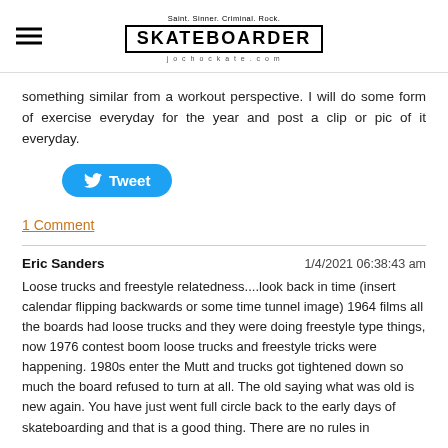Saint. Sinner. Criminal. Rock. SKATEBOARDER jochockate.com
something similar from a workout perspective. I will do some form of exercise everyday for the year and post a clip or pic of it everyday.
[Figure (other): Tweet button with Twitter bird logo]
1 Comment
Eric Sanders    1/4/2021 06:38:43 am
Loose trucks and freestyle relatedness....look back in time (insert calendar flipping backwards or some time tunnel image) 1964 films all the boards had loose trucks and they were doing freestyle type things, now 1976 contest boom loose trucks and freestyle tricks were happening. 1980s enter the Mutt and trucks got tightened down so much the board refused to turn at all. The old saying what was old is new again. You have just went full circle back to the early days of skateboarding and that is a good thing. There are no rules in